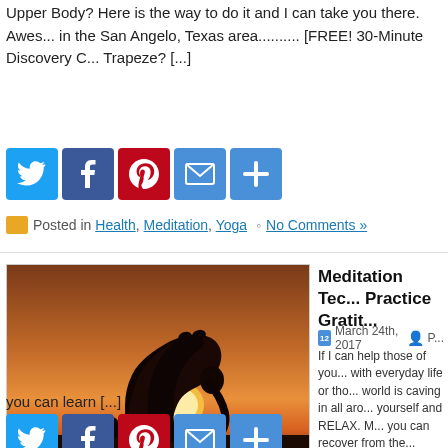Upper Body? Here is the way to do it and I can take you there.  Awes... in the San Angelo, Texas area.......... [FREE! 30-Minute Discovery C... Trapeze? [...]
[Figure (infographic): Row of social sharing buttons: Twitter (blue bird), Facebook (blue f), Pinterest (red P), Email (blue envelope), Share (blue plus)]
Posted in Health, Meditation, Yoga  No Comments »
[Figure (photo): Person doing a backbend yoga pose silhouetted against a sunset sky, with alamy watermark]
Meditation Tec... Practice Gratit...
March 24th, 2017  P...
If I can help those of you... with everyday life or tho... world is caving in all aro... yourself and RELAX. M... you can recover from the...
you can learn [...]
[Figure (infographic): Row of social sharing buttons: Twitter (blue bird), Facebook (blue f), Pinterest (red P), Email (blue envelope), Share (blue plus)]